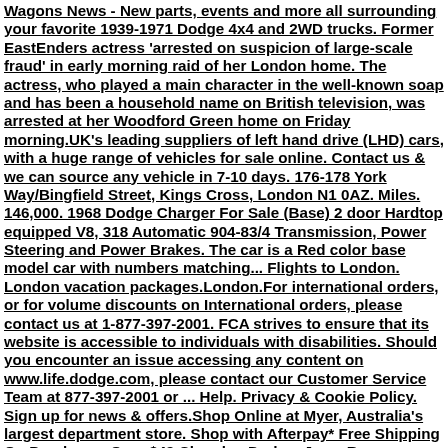Wagons News - New parts, events and more all surrounding your favorite 1939-1971 Dodge 4x4 and 2WD trucks. Former EastEnders actress 'arrested on suspicion of large-scale fraud' in early morning raid of her London home. The actress, who played a main character in the well-known soap and has been a household name on British television, was arrested at her Woodford Green home on Friday morning.UK's leading suppliers of left hand drive (LHD) cars, with a huge range of vehicles for sale online. Contact us & we can source any vehicle in 7-10 days. 176-178 York Way/Bingfield Street, Kings Cross, London N1 0AZ. Miles. 146,000. 1968 Dodge Charger For Sale (Base) 2 door Hardtop equipped V8, 318 Automatic 904-83/4 Transmission, Power Steering and Power Brakes. The car is a Red color base model car with numbers matching... Flights to London. London vacation packages.London.For international orders, or for volume discounts on International orders, please contact us at 1-877-397-2001. FCA strives to ensure that its website is accessible to individuals with disabilities. Should you encounter an issue accessing any content on www.life.dodge.com, please contact our Customer Service Team at 877-397-2001 or ... Help. Privacy & Cookie Policy. Sign up for news & offers.Shop Online at Myer, Australia's largest department store. Shop with Afterpay* Free Shipping On Purchases Over $49.Chrysler, Dodge, Jeep, Ram, Wagoneer, Mopar and SRT are registered trademarks of FCA US LLC. ALFA ROMEO and FIAT are registered trademarks of